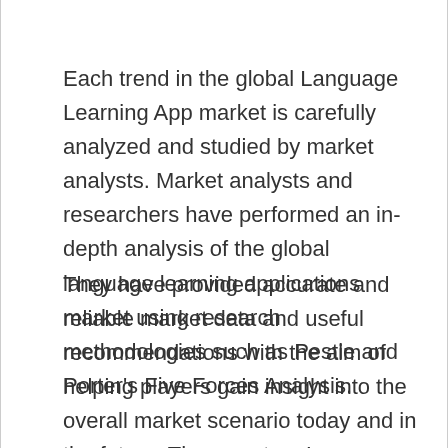Each trend in the global Language Learning App market is carefully analyzed and studied by market analysts. Market analysts and researchers have performed an in-depth analysis of the global language learning applications market using research methodologies such as Pestle and Porter's Five Forces Analysis.
They have provided accurate and reliable market data and useful recommendations with the aim of helping players gain insight into the overall market scenario today and in the future. The report on Language Learning App includes in-depth research on potential segments including product types, applications and end-users along with their contribution to the overall